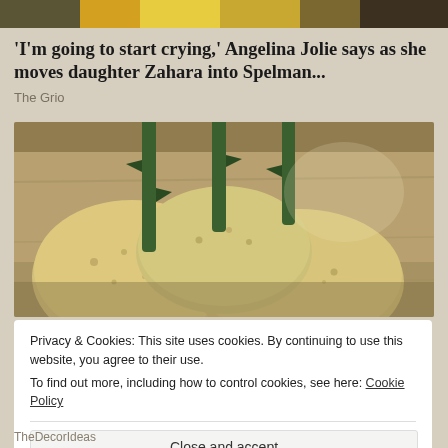[Figure (photo): Colorful image strip at top showing various photos including yellow/gold imagery]
'I'm going to start crying,' Angelina Jolie says as she moves daughter Zahara into Spelman...
The Grio
[Figure (photo): Close-up photo of potatoes with rose stems inserted into them, sitting on a wooden surface in sunlight]
Privacy & Cookies: This site uses cookies. By continuing to use this website, you agree to their use.
To find out more, including how to control cookies, see here: Cookie Policy
Close and accept
TheDecorIdeas